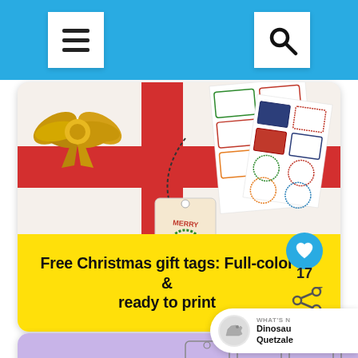Navigation bar with menu and search icons
[Figure (photo): Christmas gift wrapped in white paper with red ribbon and gold bow, with printed gift tags showing Merry Christmas labels in various colorful styles scattered on the surface]
Free Christmas gift tags: Full-color & ready to print
[Figure (photo): Partial view of a second article card with purple/lavender background showing blank gift tag printables in black and white outline style]